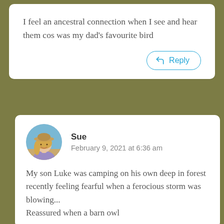I feel an ancestral connection when I see and hear them cos was my dad's favourite bird
Reply
Sue
February 9, 2021 at 6:36 am
My son Luke was camping on his own deep in forest recently feeling fearful when a ferocious storm was blowing... Reassured when a barn owl